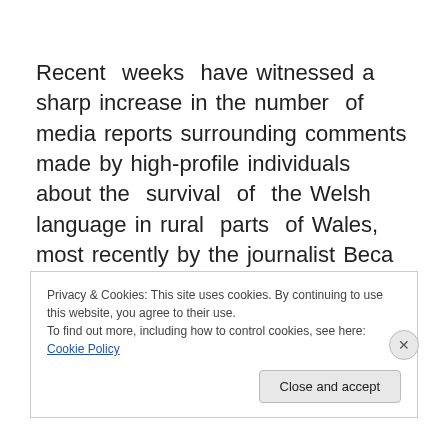Recent weeks have witnessed a sharp increase in the number of media reports surrounding comments made by high-profile individuals about the survival of the Welsh language in rural parts of Wales, most recently by the journalist Beca Brown. While we fully sympathise with the problems of local people, and would welcome fair
Privacy & Cookies: This site uses cookies. By continuing to use this website, you agree to their use.
To find out more, including how to control cookies, see here: Cookie Policy